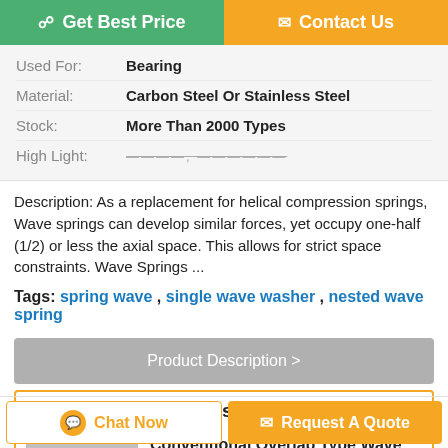[Figure (screenshot): Two buttons: green 'Get Best Price' and orange 'Contact Us']
| Used For: | Bearing |
| Material: | Carbon Steel Or Stainless Steel |
| Stock: | More Than 2000 Types |
| High Light: | ——, ——— |
Description: As a replacement for helical compression springs, Wave springs can develop similar forces, yet occupy one-half (1/2) or less the axial space. This allows for strict space constraints. Wave Springs ...
Tags: spring wave , single wave washer , nested wave spring
Product Description >
Get the Best Price for
Conventional Overlap Type Wave Springs With Carbon Steel /...
Chat Now    Request A Quote